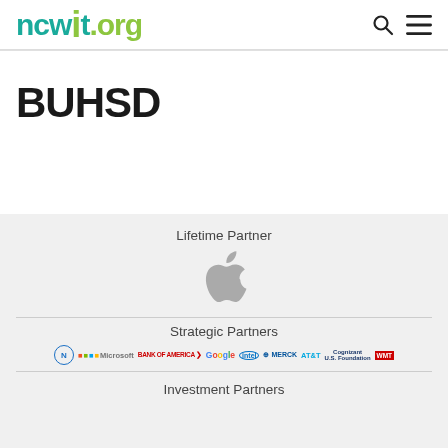[Figure (logo): ncwit.org logo in teal and green]
BUHSD
Lifetime Partner
[Figure (logo): Apple logo (gray)]
Strategic Partners
[Figure (logo): Strategic partner logos: NGLC, Microsoft, Bank of America, Google, Intel, Merck, AT&T, Cognizant U.S. Foundation, Walmart Foundation]
Investment Partners